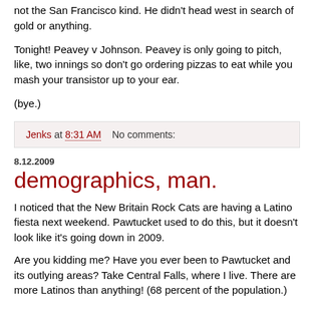not the San Francisco kind. He didn't head west in search of gold or anything.
Tonight! Peavey v Johnson. Peavey is only going to pitch, like, two innings so don't go ordering pizzas to eat while you mash your transistor up to your ear.
(bye.)
Jenks at 8:31 AM    No comments:
8.12.2009
demographics, man.
I noticed that the New Britain Rock Cats are having a Latino fiesta next weekend. Pawtucket used to do this, but it doesn't look like it's going down in 2009.
Are you kidding me? Have you ever been to Pawtucket and its outlying areas? Take Central Falls, where I live. There are more Latinos than anything! (68 percent of the population.)